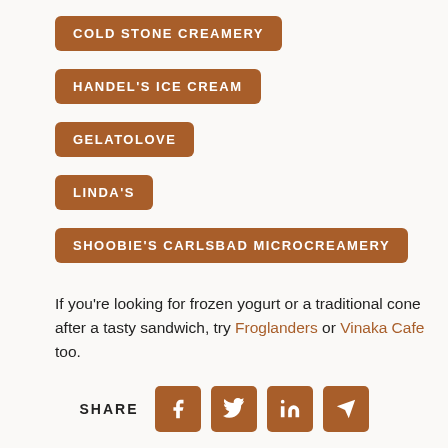COLD STONE CREAMERY
HANDEL'S ICE CREAM
GELATOLOVE
LINDA'S
SHOOBIE'S CARLSBAD MICROCREAMERY
If you're looking for frozen yogurt or a traditional cone after a tasty sandwich, try Froglanders or Vinaka Cafe too.
SHARE